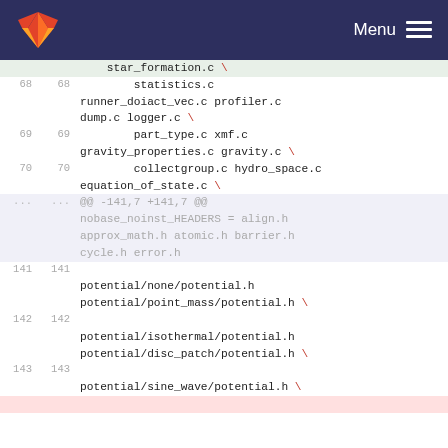GitLab — Menu
[Figure (screenshot): Code diff view showing a Makefile or build script with line numbers on left (old and new), showing lines 68-70 with filenames like statistics.c, runner_doiact_vec.c, profiler.c, dump.c, logger.c, part_type.c, xmf.c, gravity_properties.c, gravity.c, collectgroup.c, hydro_space.c, equation_of_state.c; then a context header '...@@-141,7+141,7@@' with greyed lines including nobase_noinst_HEADERS=align.h approx_math.h atomic.h barrier.h cycle.h error.h; then lines 141-143 showing potential/none/potential.h, potential/point_mass/potential.h, potential/isothermal/potential.h, potential/disc_patch/potential.h, potential/sine_wave/potential.h with red backslashes as line continuations]